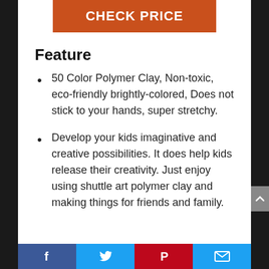CHECK PRICE
Feature
50 Color Polymer Clay, Non-toxic, eco-friendly brightly-colored, Does not stick to your hands, super stretchy.
Develop your kids imaginative and creative possibilities. It does help kids release their creativity. Just enjoy using shuttle art polymer clay and making things for friends and family.
Social share bar: Facebook, Twitter, Pinterest, Email